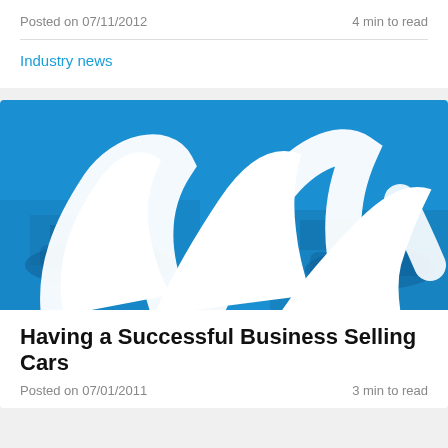Posted on 07/11/2012
4 min to read
Industry news
[Figure (illustration): Blue banner image with white swoosh/logo graphic overlaid on a blurred car dealership background]
Having a Successful Business Selling Cars
Posted on 07/01/2011
3 min to read